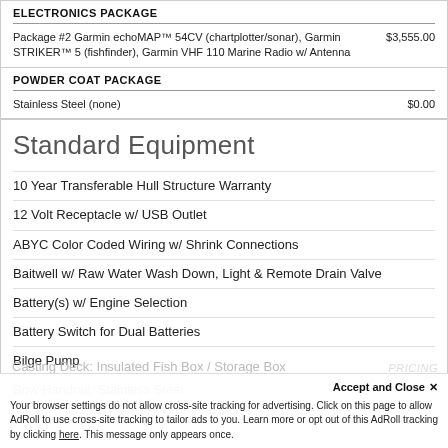ELECTRONICS PACKAGE
Package #2 Garmin echoMAP™ 54CV (chartplotter/sonar), Garmin STRIKER™ 5 (fishfinder), Garmin VHF 110 Marine Radio w/ Antenna    $3,555.00
POWDER COAT PACKAGE
Stainless Steel (none)    $0.00
Standard Equipment
10 Year Transferable Hull Structure Warranty
12 Volt Receptacle w/ USB Outlet
ABYC Color Coded Wiring w/ Shrink Connections
Baitwell w/ Raw Water Wash Down, Light & Remote Drain Valve
Battery(s) w/ Engine Selection
Battery Switch for Dual Batteries
Bilge Pump
Bow Handrail: Stainless Steel
Casting Deck: Insulated Fish Box / Storage Box
Your browser settings do not allow cross-site tracking for advertising. Click on this page to allow AdRoll to use cross-site tracking to tailor ads to you. Learn more or opt out of this AdRoll tracking by clicking here. This message only appears once.